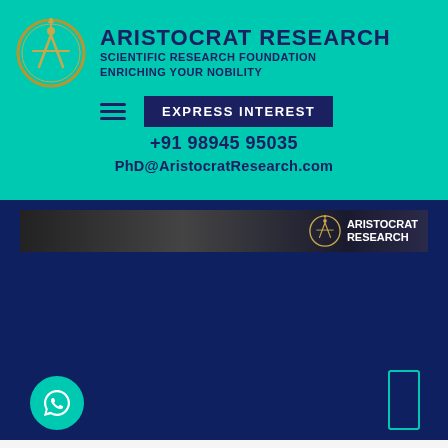[Figure (logo): Aristocrat Research logo — golden/amber circular emblem with stylized A figure]
ARISTOCRAT RESEARCH
SCIENTIFIC RESEARCH FOUNDATION
ENRICHING YOUR NOBILITY
EXPRESS INTEREST
+91 98945 95035
PhD@AristocratResearch.com
[Figure (screenshot): Dark navigation bar with Aristocrat Research logo and brand name on a dark background, partial website screenshot]
[Figure (logo): WhatsApp icon button in teal circle]
[Figure (other): Teal scroll rectangle indicator on right side]